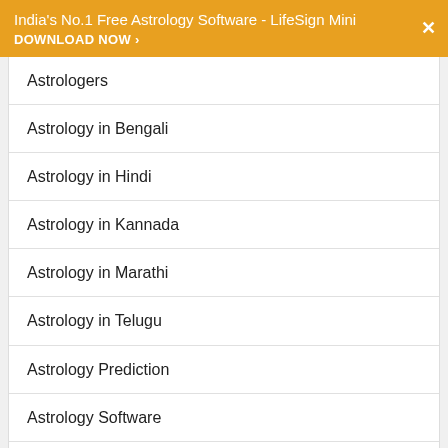India's No.1 Free Astrology Software - LifeSign Mini DOWNLOAD NOW ›
Astrologers
Astrology in Bengali
Astrology in Hindi
Astrology in Kannada
Astrology in Marathi
Astrology in Telugu
Astrology Prediction
Astrology Software
Barathi R Ram
Hindu Festivals
Indian Astrology
J.V. Pillai